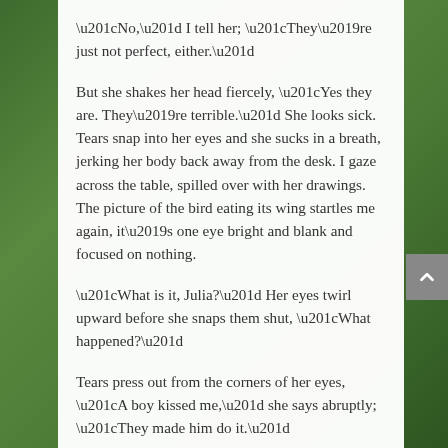“No,” I tell her; “They’re just not perfect, either.”
But she shakes her head fiercely, “Yes they are. They’re terrible.” She looks sick. Tears snap into her eyes and she sucks in a breath, jerking her body back away from the desk. I gaze across the table, spilled over with her drawings. The picture of the bird eating its wing startles me again, it’s one eye bright and blank and focused on nothing.
“What is it, Julia?” Her eyes twirl upward before she snaps them shut, “What happened?”
Tears press out from the corners of her eyes, “A boy kissed me,” she says abruptly; “They made him do it.”
“Who?”
“Jimmy Fallon. In geometry class. When the teacher